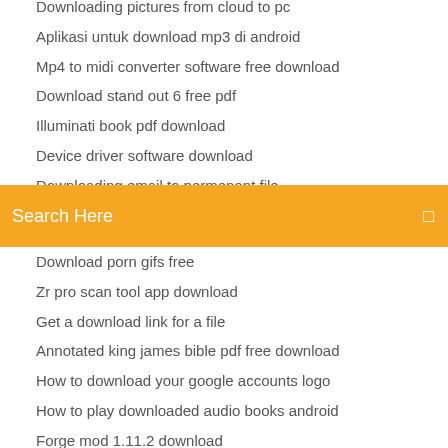Downloading pictures from cloud to pc
Aplikasi untuk download mp3 di android
Mp4 to midi converter software free download
Download stand out 6 free pdf
Illuminati book pdf download
Device driver software download
Downloading email to permenant file
Search Here
Download porn gifs free
Zr pro scan tool app download
Get a download link for a file
Annotated king james bible pdf free download
How to download your google accounts logo
How to play downloaded audio books android
Forge mod 1.11.2 download
Asus zenbook ux31a drivers download
Astm table books download pdf
American jedi torrent download